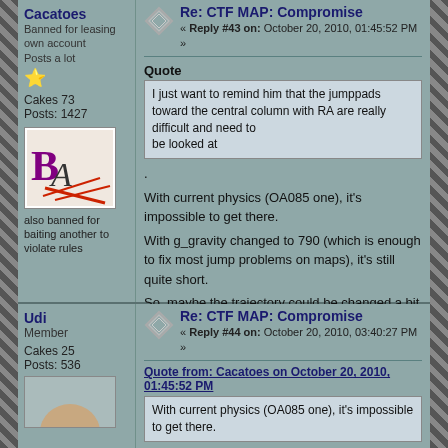Re: CTF MAP: Compromise — Reply #43 on: October 20, 2010, 01:45:52 PM
Cacatoes
Banned for leasing own account
Posts a lot
Cakes 73
Posts: 1427
Quote
I just want to remind him that the jumppads toward the central column with RA are really difficult and need to be looked at
also banned for baiting another to violate rules
With current physics (OA085 one), it's impossible to get there.
With g_gravity changed to 790 (which is enough to fix most jump problems on maps), it's still quite short.
So, maybe the trajectory could be changed a bit to make it easier to jump there.
On a side note, this map is unfortunately underplayed, like many others.
Logged
Todo: Walk the cat.
Re: CTF MAP: Compromise — Reply #44 on: October 20, 2010, 03:40:27 PM
Udi
Member
Cakes 25
Posts: 536
Quote from: Cacatoes on October 20, 2010, 01:45:52 PM
With current physics (OA085 one), it's impossible to get there.